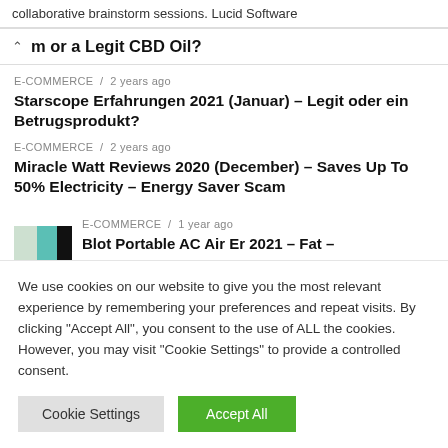collaborative brainstorm sessions. Lucid Software
m or a Legit CBD Oil?
E-COMMERCE / 2 years ago
Starscope Erfahrungen 2021 (Januar) – Legit oder ein Betrugsprodukt?
E-COMMERCE / 2 years ago
Miracle Watt Reviews 2020 (December) – Saves Up To 50% Electricity – Energy Saver Scam
E-COMMERCE / 1 year ago
Blot Portable AC Air Er 2021 – Fat –
We use cookies on our website to give you the most relevant experience by remembering your preferences and repeat visits. By clicking "Accept All", you consent to the use of ALL the cookies. However, you may visit "Cookie Settings" to provide a controlled consent.